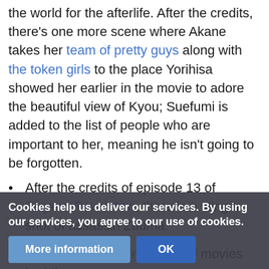the world for the afterlife. After the credits, there's one more scene where Akane takes her team of pretty guys along with the token girls to the place Yorihisa showed her earlier in the movie to adore the beautiful view of Kyou; Suefumi is added to the list of people who are important to her, meaning he isn't going to be forgotten.
After the credits of episode 13 of Slayers Revolution, there is a stinger shot of assassin Zuuma.
Some of the Kara no Kyoukai movies had them: Episode 1 had a minor conversation between Azaka and Touko concerning Kirie Fujyou. Episode 2 had a foreshadowing of Asagami Fujino and Shirazumi Lio's appearances. Episode 4 showed how Asagami Fujino and Fujyou Kirie got their abilities. Episode 5 had a minor conversation between Shiki...
Cookies help us deliver our services. By using our services, you agree to our use of cookies.